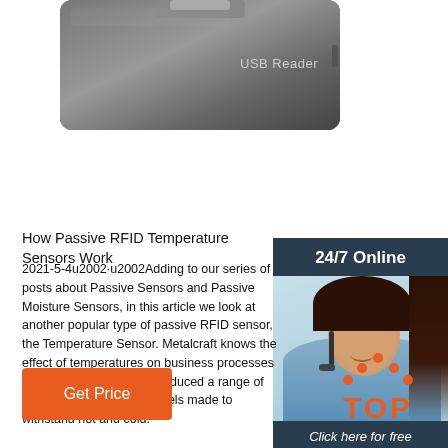[Figure (photo): USB Reader device - dark grey rectangular RFID USB reader with 'USB Reader' text on surface]
[Figure (photo): 24/7 Online customer service widget with photo of woman wearing headset, 'Click here for free chat!' text, and orange QUOTATION button]
How Passive RFID Temperature Sensors Work
2021-5-4u2002·u2002Adding to our series of posts about Passive Sensors and Passive Moisture Sensors, in this article we look at another popular type of passive RFID sensor, the Temperature Sensor. Metalcraft knows the effect of temperatures on business processes and materials, and has produced a range of durable RFID tags and labels made to withstand hot and cold.
[Figure (other): Orange 'Get Price' button]
[Figure (other): Orange TOP back-to-top icon with dots forming triangle and bold TOP text]